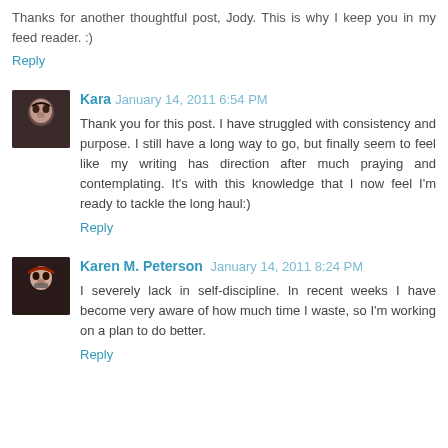Thanks for another thoughtful post, Jody. This is why I keep you in my feed reader. :)
Reply
Kara  January 14, 2011 6:54 PM
Thank you for this post. I have struggled with consistency and purpose. I still have a long way to go, but finally seem to feel like my writing has direction after much praying and contemplating. It's with this knowledge that I now feel I'm ready to tackle the long haul:)
Reply
Karen M. Peterson  January 14, 2011 8:24 PM
I severely lack in self-discipline. In recent weeks I have become very aware of how much time I waste, so I'm working on a plan to do better.
Reply